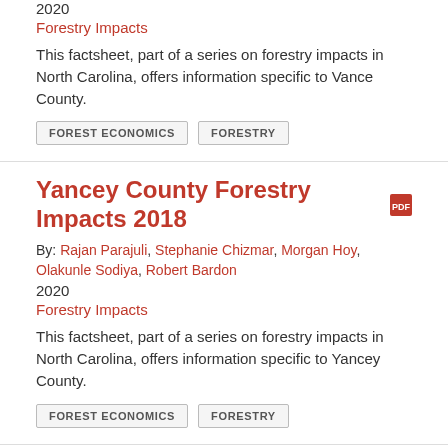2020
Forestry Impacts
This factsheet, part of a series on forestry impacts in North Carolina, offers information specific to Vance County.
FOREST ECONOMICS
FORESTRY
Yancey County Forestry Impacts 2018
By: Rajan Parajuli, Stephanie Chizmar, Morgan Hoy, Olakunle Sodiya, Robert Bardon
2020
Forestry Impacts
This factsheet, part of a series on forestry impacts in North Carolina, offers information specific to Yancey County.
FOREST ECONOMICS
FORESTRY
Cherokee County Forestry Impacts